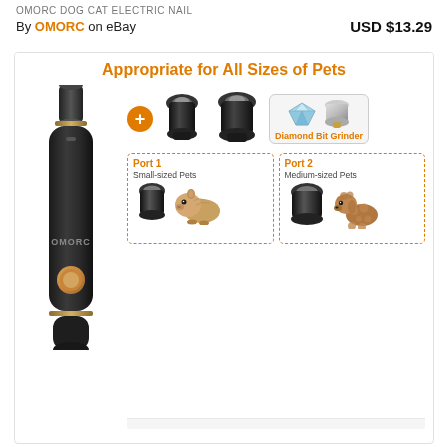OMORC DOG CAT ELECTRIC NAIL
By OMORC on eBay
USD $13.29
[Figure (infographic): Product infographic showing OMORC pet nail grinder device with heading 'Appropriate for All Sizes of Pets'. Left side shows the black cylindrical OMORC device. Right side shows a plus sign, two replacement grinding caps (small and large), and a box showing diamond and silver grinding bits labeled 'Diamond Bit Grinder'. Below are two dashed port boxes: Port 1 for Small-sized Pets showing a small cap and guinea pig image, Port 2 for Medium-sized Pets showing a larger cap and poodle image.]